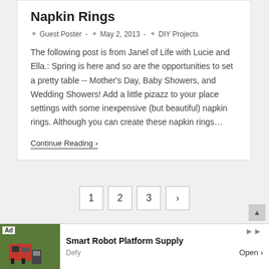Napkin Rings
Guest Poster  -  May 2, 2013  -  DIY Projects
The following post is from Janel of Life with Lucie and Ella.: Spring is here and so are the opportunities to set a pretty table -- Mother's Day, Baby Showers, and Wedding Showers! Add a little pizazz to your place settings with some inexpensive (but beautiful) napkin rings. Although you can create these napkin rings…
Continue Reading ❯
1  2  3  ›
[Figure (infographic): Ad banner: Smart Robot Platform Supply by Defy with Open button and a photo of a red robotic machine on green background]